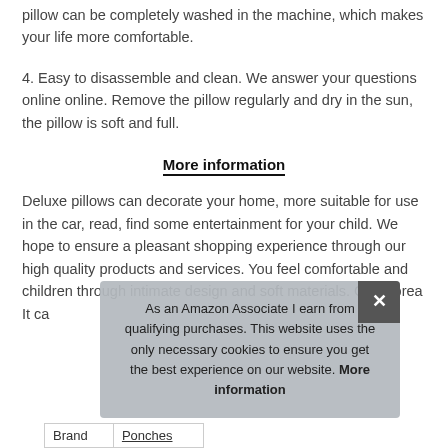pillow can be completely washed in the machine, which makes your life more comfortable.
4. Easy to disassemble and clean. We answer your questions online online. Remove the pillow regularly and dry in the sun, the pillow is soft and full.
More information
Deluxe pillows can decorate your home, more suitable for use in the car, read, find some entertainment for your child. We hope to ensure a pleasant shopping experience through our high quality products and services. You feel comfortable and children through intimate design and soft materials. Good brea... It ca...
| Brand | Ponches |
| --- | --- |
| Brand | Ponches |
As an Amazon Associate I earn from qualifying purchases. This website uses the only necessary cookies to ensure you get the best experience on our website. More information